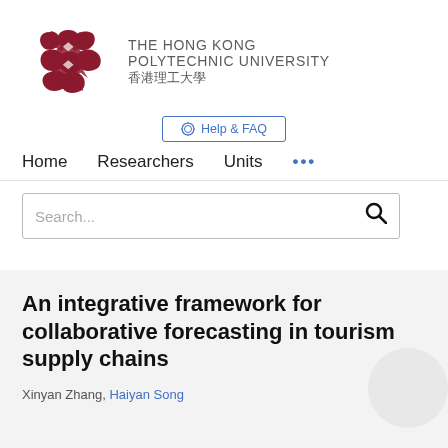[Figure (logo): The Hong Kong Polytechnic University logo with red interlocked knot symbol and university name in English and Chinese]
⚙ Help & FAQ
Home   Researchers   Units   ...
Search...
An integrative framework for collaborative forecasting in tourism supply chains
Xinyan Zhang, Haiyan Song